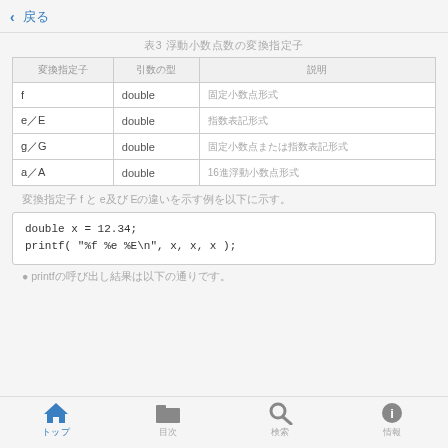< 戻る
表3 浮動小数点数の変換指定子
| 変換指定子 | 引数の型 | 説明 |
| --- | --- | --- |
| f | double | 固定小数点形式 |
| e／E | double | 指数表記形式 |
| g／G | double | 固定小数点または指数表記形式 |
| a／A | double | 16進浮動小数点形式 |
変換指定子 f と e及び Eの違いを示す例を以下に示す。
double x = 12.34;
printf( "%f %e %E\n", x, x, x );
● printfの呼び出し結果は以下の通りです。